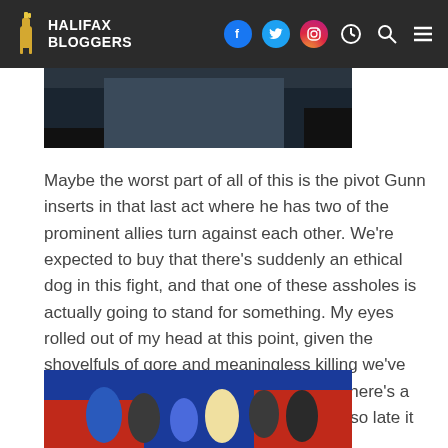HALIFAX BLOGGERS
[Figure (photo): Partial movie scene photo, dark tones, top portion cropped]
Maybe the worst part of all of this is the pivot Gunn inserts in that last act where he has two of the prominent allies turn against each other. We're expected to buy that there's suddenly an ethical dog in this fight, and that one of these assholes is actually going to stand for something. My eyes rolled out of my head at this point, given the shovelfuls of gore and meaningless killing we've had to eat thus far. Asking us to believe there's a point to it is a bridge too far, and coming so late it just feels like hypocrisy.
[Figure (photo): The Suicide Squad movie poster showing characters with weapons against a blue and red background]